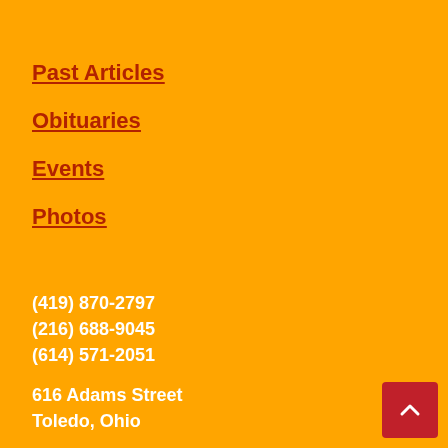Past Articles
Obituaries
Events
Photos
(419) 870-2797
(216) 688-9045
(614) 571-2051
616 Adams Street
Toledo, Ohio
adrianne@laprensanewspaper.com